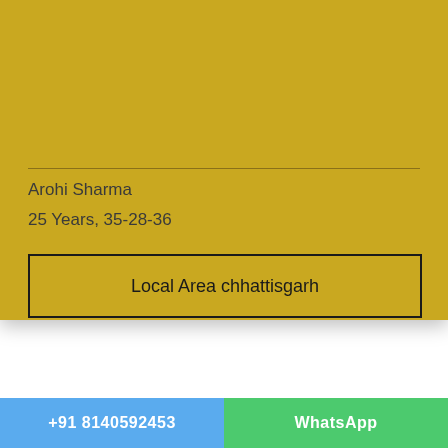Arohi Sharma
25 Years, 35-28-36
Local Area chhattisgarh
+91 8140592453
WhatsApp